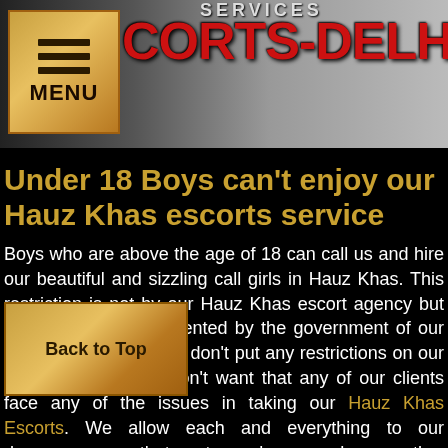[Figure (screenshot): Website header banner with menu icon, gold menu box, and site name ESCORTS-DELHI.COM in red text on dark/grey background]
Under 18 Boys can't enjoy our Hauz Khas escorts service
Boys who are above the age of 18 can call us and hire our beautiful and sizzling call girls in Hauz Khas. This restriction is not by our Hauz Khas escort agency but this restriction implemented by the government of our nation. By the way, we don't put any restrictions on our clients because we don't want that any of our clients face any of the issues in taking our Hauz Khas Escorts. We allow each and everything to our de... that customer becomes happy rather to be dis... o, the boys who are above 18 age can call us n... make their night romantic. You may hire our Hauz Khas escort girl for day and night. It totally depends on